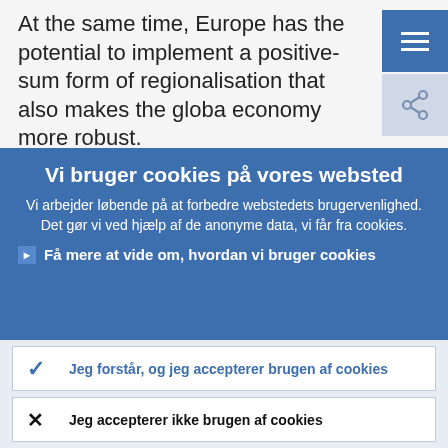At the same time, Europe has the potential to implement a positive-sum form of regionalisation that also makes the global economy more robust.
Vi bruger cookies på vores websted
Vi arbejder løbende på at forbedre webstedets brugervenlighed. Det gør vi ved hjælp af de anonyme data, vi får fra cookies.
Få mere at vide om, hvordan vi bruger cookies
Jeg forstår, og jeg accepterer brugen af cookies
Jeg accepterer ikke brugen af cookies